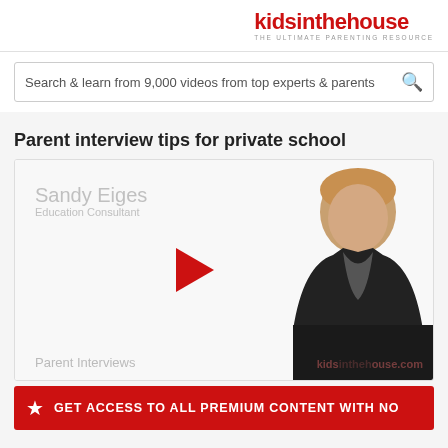[Figure (logo): kidsinthehouse logo — red text with tagline THE ULTIMATE PARENTING RESOURCE]
Search & learn from 9,000 videos from top experts & parents
Parent interview tips for private school
[Figure (screenshot): Video thumbnail showing Sandy Eiges, Education Consultant, with play button and Parent Interviews label and kidsinthehouse.com watermark]
GET ACCESS TO ALL PREMIUM CONTENT WITH NO